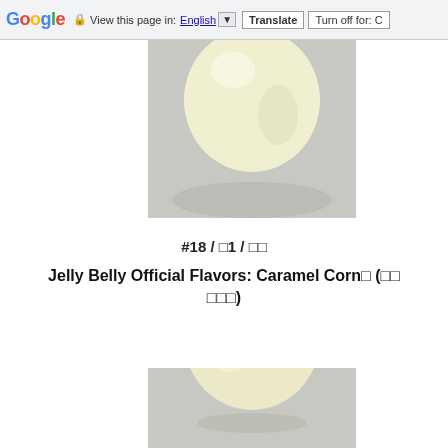Google  View this page in: English [▼]  Translate  Turn off for: C
[Figure (photo): Close-up photo of a pale yellow/cream colored Jelly Belly jelly bean on a light gray surface, showing top portion]
#18 / □1 / □□
Jelly Belly Official Flavors: Caramel Corn□ (□□ □□□)
[Figure (photo): Close-up photo of a pale yellow/cream colored Jelly Belly jelly bean on a light gray surface, showing bottom portion]